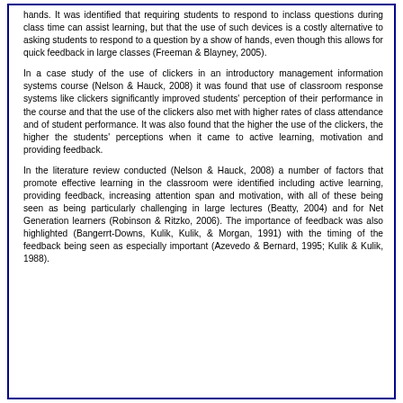hands. It was identified that requiring students to respond to inclass questions during class time can assist learning, but that the use of such devices is a costly alternative to asking students to respond to a question by a show of hands, even though this allows for quick feedback in large classes (Freeman & Blayney, 2005).
In a case study of the use of clickers in an introductory management information systems course (Nelson & Hauck, 2008) it was found that use of classroom response systems like clickers significantly improved students' perception of their performance in the course and that the use of the clickers also met with higher rates of class attendance and of student performance. It was also found that the higher the use of the clickers, the higher the students' perceptions when it came to active learning, motivation and providing feedback.
In the literature review conducted (Nelson & Hauck, 2008) a number of factors that promote effective learning in the classroom were identified including active learning, providing feedback, increasing attention span and motivation, with all of these being seen as being particularly challenging in large lectures (Beatty, 2004) and for Net Generation learners (Robinson & Ritzko, 2006). The importance of feedback was also highlighted (Bangerrt-Downs, Kulik, Kulik, & Morgan, 1991) with the timing of the feedback being seen as especially important (Azevedo & Bernard, 1995; Kulik & Kulik, 1988).